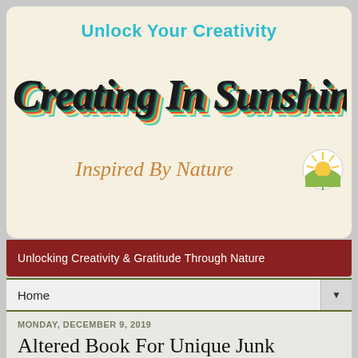[Figure (illustration): Blog header banner for 'Creating In Sunshine'. Cream/beige background with 'Unlock Your Creativity' in cyan/teal bold text at top. Large retro-style 'Creating In Sunshine' script logo with rainbow layered shadow effect in red/yellow/green. Below that 'Inspired By Nature' in orange italic script. Small circular sun logo in bottom right corner.]
Unlocking Creativity & Gratitude Through Nature
Home
MONDAY, DECEMBER 9, 2019
Altered Book For Unique Junk Journal